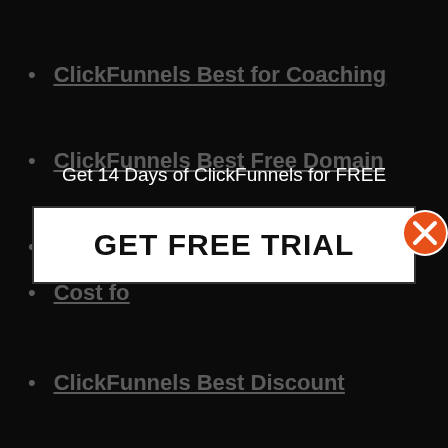ClickFunnels Best for Coaching
ClickFunnels Best Free Domain
ClickFunnels Best Japanese
Cost fo[r ClickFunnels]
ClickFunnels Best Discount
ClickFunnels Best Boise Idaho
Get 14 Days of ClickFunnels for FREE
GET FREE TRIAL